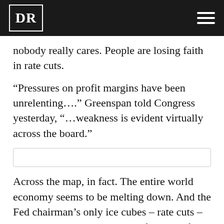DR
nobody really cares. People are losing faith in rate cuts.
“Pressures on profit margins have been unrelenting….” Greenspan told Congress yesterday, “…weakness is evident virtually across the board.”
Across the map, in fact. The entire world economy seems to be melting down. And the Fed chairman’s only ice cubes – rate cuts – seem to evaporate as soon as they are taken out of the freezer.
But let’s get more details on yesterday’s Wall Street action from Eric: